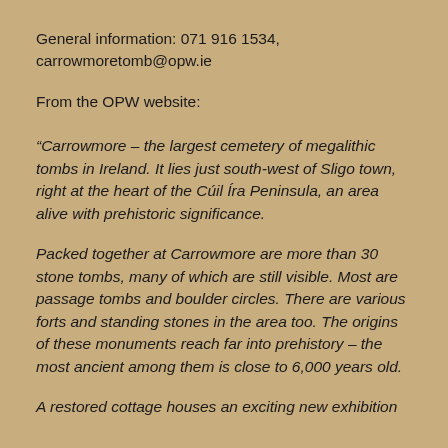General information: 071 916 1534, carrowmoretomb@opw.ie
From the OPW website:
“Carrowmore – the largest cemetery of megalithic tombs in Ireland. It lies just south-west of Sligo town, right at the heart of the Cúil Íra Peninsula, an area alive with prehistoric significance.
Packed together at Carrowmore are more than 30 stone tombs, many of which are still visible. Most are passage tombs and boulder circles. There are various forts and standing stones in the area too. The origins of these monuments reach far into prehistory – the most ancient among them is close to 6,000 years old.
A restored cottage houses an exciting new exhibition